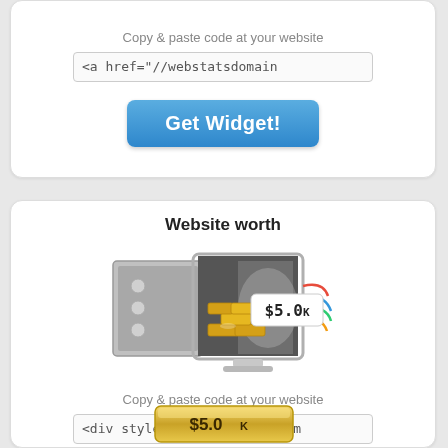Copy & paste code at your website
<a href="//webstatsdomain
[Figure (other): Get Widget button - blue rounded rectangle button with white bold text]
Website worth
[Figure (illustration): Monitor with open safe door showing gold bars and a price tag reading $5.0k, with colorful cables coming out the back]
Copy & paste code at your website
<div style="float:left;"><im
[Figure (other): Gold badge/button showing $5.0 K]